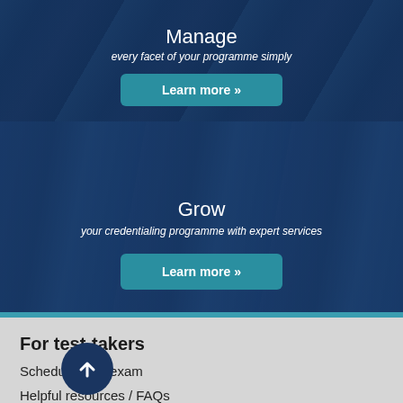Manage
every facet of your programme simply
[Figure (screenshot): Blue-tinted background photo of person with 'Learn more »' button overlay]
Grow
your credentialing programme with expert services
[Figure (screenshot): Blue-tinted background photo of person at screen with 'Learn more »' button overlay]
For test-takers
Schedule your exam
Helpful resources / FAQs